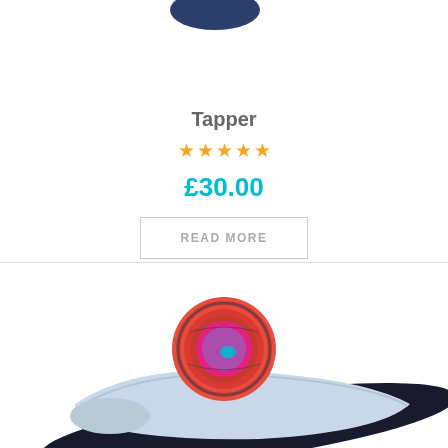[Figure (photo): Partial view of a dark-colored product (shoe insole or similar) at the top of the first product card]
Tapper
Star rating: 0 out of 5 (5 empty stars)
£30.00
READ MORE
[Figure (photo): Product image showing a white/light blue shoe insole with a circular red/pink branded label on top, and a dark insole underneath]